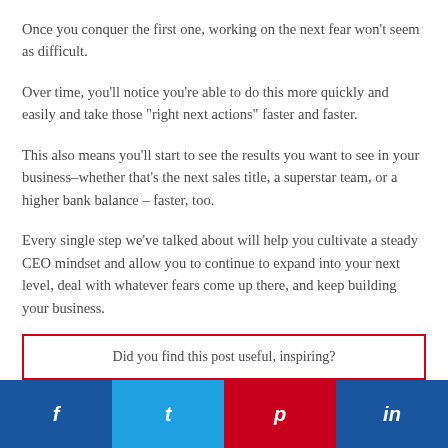Once you conquer the first one, working on the next fear won't seem as difficult.
Over time, you'll notice you're able to do this more quickly and easily and take those "right next actions" faster and faster.
This also means you'll start to see the results you want to see in your business–whether that's the next sales title, a superstar team, or a higher bank balance – faster, too.
Every single step we've talked about will help you cultivate a steady CEO mindset and allow you to continue to expand into your next level, deal with whatever fears come up there, and keep building your business.
Did you find this post useful, inspiring?
f  t  p  in